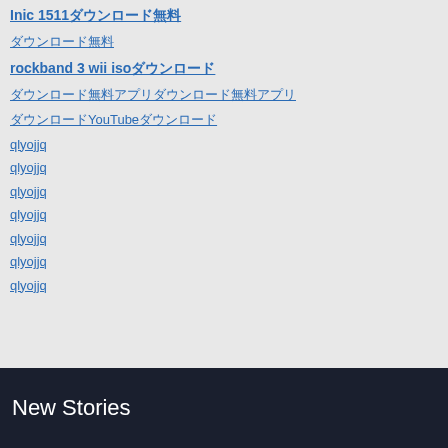Inic 1511ダウンロード無料
ダウンロード無料
rockband 3 wii isoダウンロード
ダウンロード無料アプリダウンロード無料アプリ
ダウンロードYouTubeダウンロード
qlyojjq
qlyojjq
qlyojjq
qlyojjq
qlyojjq
qlyojjq
qlyojjq
New Stories